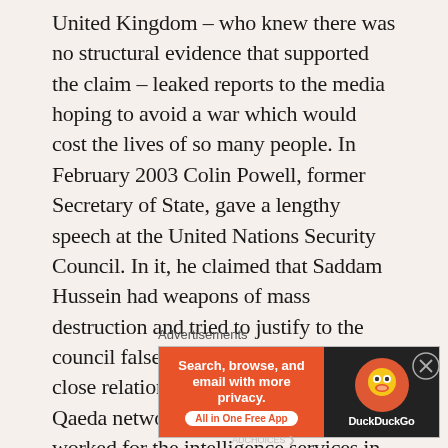United Kingdom – who knew there was no structural evidence that supported the claim – leaked reports to the media hoping to avoid a war which would cost the lives of so many people. In February 2003 Colin Powell, former Secretary of State, gave a lengthy speech at the United Nations Security Council. In it, he claimed that Saddam Hussein had weapons of mass destruction and tried to justify to the council false evidence that Hussein had close relations and support to the al Qaeda network. Katherine Gunn, who worked for the intelligence services in the UK, became a whistle-blower on the UK and American government trying to blackmail UN security
Advertisements
[Figure (other): DuckDuckGo advertisement banner with orange left panel reading 'Search, browse, and email with more privacy. All in One Free App' and dark right panel with DuckDuckGo logo and duck icon.]